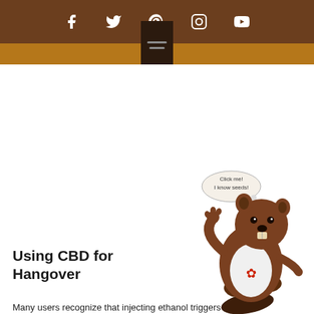Social media navigation bar with Facebook, Twitter, Pinterest, Instagram, YouTube icons
[Figure (illustration): Cartoon beaver mascot wearing white t-shirt with red maple leaf, waving, with speech bubble saying 'Click me! I know seeds!']
Using CBD for Hangover
Many users recognize that injecting ethanol triggers...